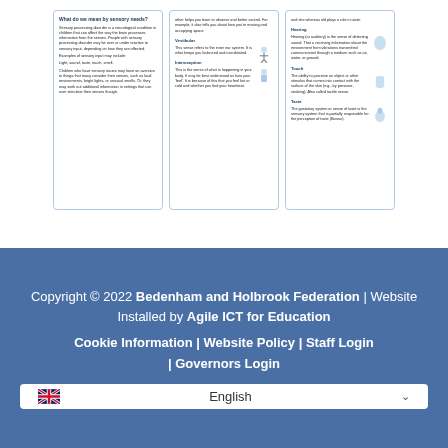[Figure (infographic): Three information cards about sensory needs. Card 1: 'What do we mean by sensory needs?' explaining sensory processing disorder. Card 2: 'Vestibular' and 'Interoception' senses described with small icons. Card 3: 'Hearing', 'Touch', and 'Taste' senses described with small icons.]
Copyright © 2022 Bedenham and Holbrook Federation | Website Installed by Agile ICT for Education
Cookie Information | Website Policy | Staff Login | Governors Login
English